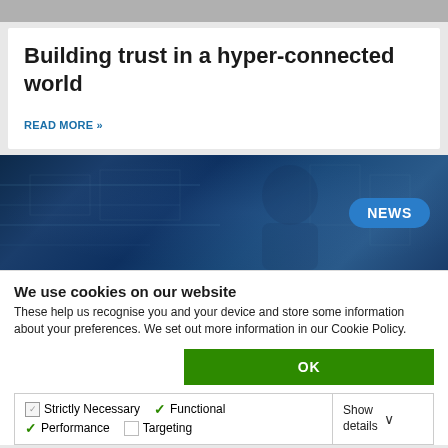Building trust in a hyper-connected world
READ MORE »
[Figure (photo): Dark blue toned image of a person wearing headphones in a technology/network control room environment, with a NEWS badge overlay]
We use cookies on our website
These help us recognise you and your device and store some information about your preferences.  We set out more information in our Cookie Policy.
OK
Strictly Necessary  ✓ Functional  ✓ Performance  Targeting  Show details